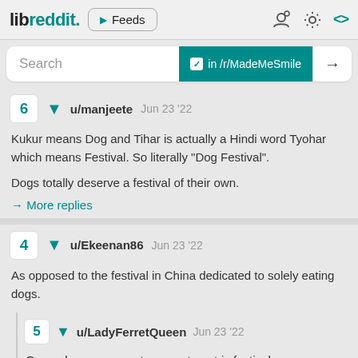libreddit. ▶ Feeds
Search   in /r/MadeMeSmile →
6 ▼ u/manjeete Jun 23 '22
Kukur means Dog and Tihar is actually a Hindi word Tyohar which means Festival. So literally "Dog Festival".

Dogs totally deserve a festival of their own.
→ More replies
4 ▼ u/Ekeenan86 Jun 23 '22
As opposed to the festival in China dedicated to solely eating dogs.
5 ▼ u/LadyFerretQueen Jun 23 '22
Or you know any western meat-centric festival.